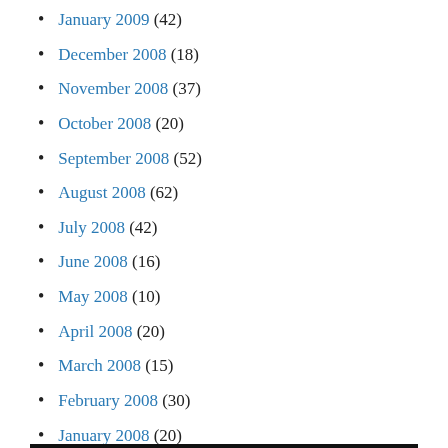January 2009 (42)
December 2008 (18)
November 2008 (37)
October 2008 (20)
September 2008 (52)
August 2008 (62)
July 2008 (42)
June 2008 (16)
May 2008 (10)
April 2008 (20)
March 2008 (15)
February 2008 (30)
January 2008 (20)
December 2007 (13)